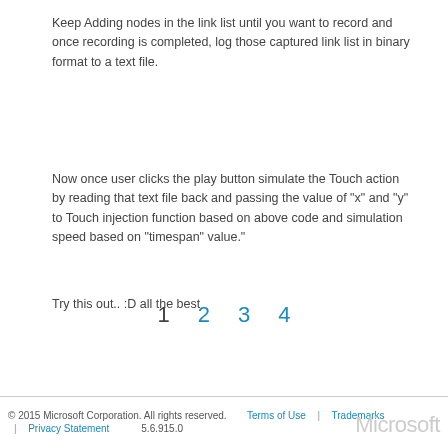Keep Adding nodes in the link list until you want to record and once recording is completed, log those captured link list in binary format to a text file.
Now once user clicks the play button simulate the Touch action by reading that text file back and passing the value of "x" and "y" to Touch injection function based on above code and simulation speed based on "timespan" value."
Try this out.. :D all the best
1  2  3  4
© 2015 Microsoft Corporation. All rights reserved. | Terms of Use | Trademarks | Privacy Statement  5.6.915.0  Microsoft